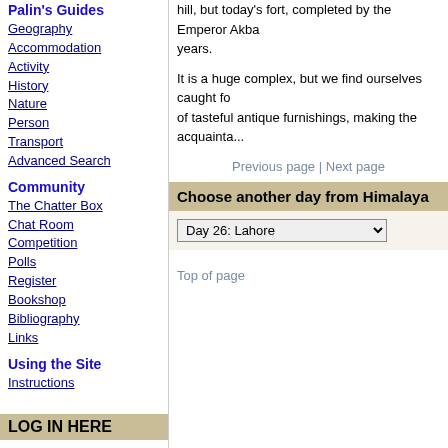hill, but today's fort, completed by the Emperor Akba... years.
It is a huge complex, but we find ourselves caught fo... of tasteful antique furnishings, making the acquainta...
Previous page | Next page
Choose another day from Himalaya
Day 26: Lahore
Top of page
Palin's Guides
Geography
Accommodation
Activity
History
Nature
Person
Transport
Advanced Search
Community
The Chatter Box
Chat Room
Competition
Polls
Register
Bookshop
Bibliography
Links
Using the Site
Instructions
LOG IN HERE
Username
Password